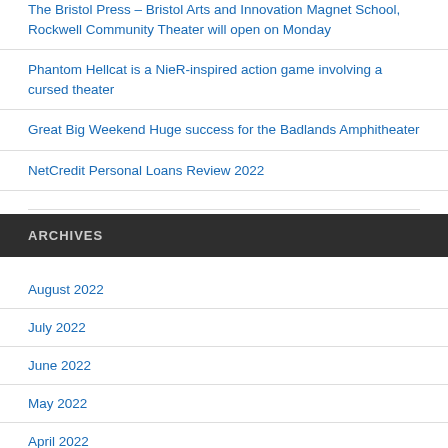The Bristol Press – Bristol Arts and Innovation Magnet School, Rockwell Community Theater will open on Monday
Phantom Hellcat is a NieR-inspired action game involving a cursed theater
Great Big Weekend Huge success for the Badlands Amphitheater
NetCredit Personal Loans Review 2022
ARCHIVES
August 2022
July 2022
June 2022
May 2022
April 2022